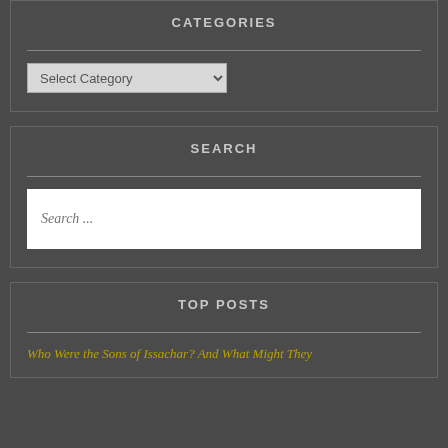CATEGORIES
Select Category
SEARCH
Search ...
TOP POSTS
Who Were the Sons of Issachar? And What Might They